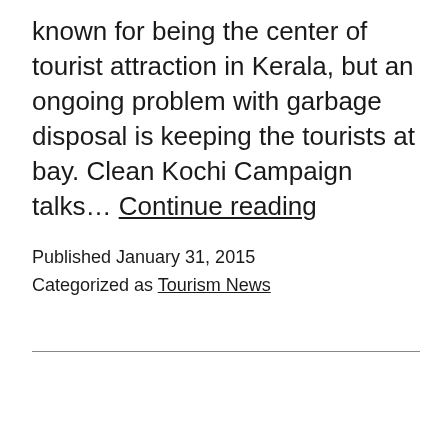known for being the center of tourist attraction in Kerala, but an ongoing problem with garbage disposal is keeping the tourists at bay. Clean Kochi Campaign talks… Continue reading
Published January 31, 2015
Categorized as Tourism News